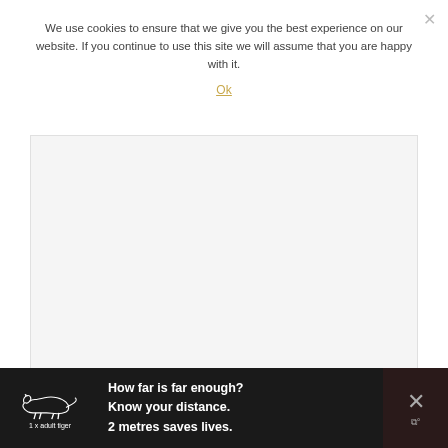We use cookies to ensure that we give you the best experience on our website. If you continue to use this site we will assume that you are happy with it.
Ok
[Figure (other): Large light grey content/slideshow area with three small grey pagination dots below it]
[Figure (infographic): Black advertisement banner showing a tiger silhouette with text '1 x adult tiger', 'How far is far enough? Know your distance. 2 metres saves lives.' and a close button, with a dark right panel showing an X icon and logo mark]